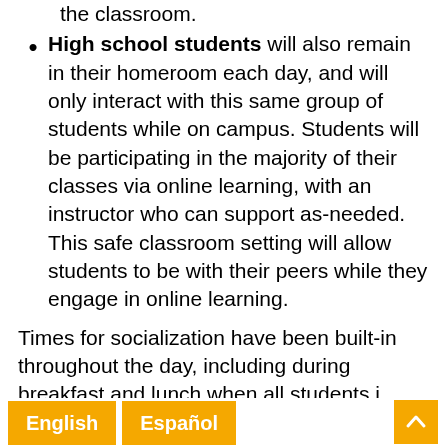the classroom.
High school students will also remain in their homeroom each day, and will only interact with this same group of students while on campus. Students will be participating in the majority of their classes via online learning, with an instructor who can support as-needed. This safe classroom setting will allow students to be with their peers while they engage in online learning.
Times for socialization have been built-in throughout the day, including during breakfast and lunch when all students i[n their classro]oms.
English  Español